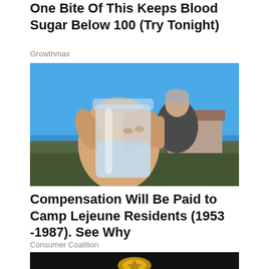One Bite Of This Keeps Blood Sugar Below 100 (Try Tonight)
Growthmax
[Figure (photo): A person holding up a clear glass mason jar filled with water or liquid outdoors against a blue sky background, with a house visible in the background.]
Compensation Will Be Paid to Camp Lejeune Residents (1953 -1987). See Why
Consumer Coalition
[Figure (photo): Partial view of a dark image showing what appears to be a golden emblem or insignia at the bottom of the page.]